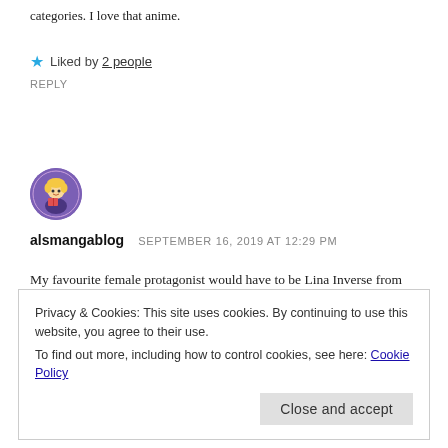categories. I love that anime.
★ Liked by 2 people
REPLY
[Figure (illustration): Circular avatar icon of alsmangablog showing an anime-style blonde character holding a book, on a purple background with text around the border]
alsmangablog   SEPTEMBER 16, 2019 AT 12:29 PM
My favourite female protagonist would have to be Lina Inverse from Slayers. She can be silly and she's also a badass!
Privacy & Cookies: This site uses cookies. By continuing to use this website, you agree to their use.
To find out more, including how to control cookies, see here: Cookie Policy
Close and accept